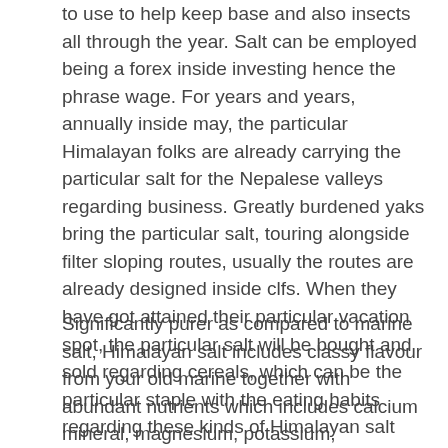to use to help keep base and also insects all through the year. Salt can be employed being a forex inside investing hence the phrase wage. For years and years, annually inside may, the particular Himalayan folks are already carrying the particular salt for the Nepalese valleys regarding business. Greatly burdened yaks bring the particular salt, touring alongside filter sloping routes, usually the routes are already designed inside clfs. When they have got attained their particular vacation spot, the particular salt will be bought and sold regarding cereals, which can be the particular staple with the eating habits regarding these kinds of Himalayan salt dealers. It is possible to realize why salt is definitely thus treasured regarding humankind.
Significantly purer as compared to marine salt, Himalayan salt includes classy flavour from your old marine together with abundant nutrients which includes calcium mineral, magnesium, potassium, birdwatcher and also straightener. This kind of underwater fossil salt